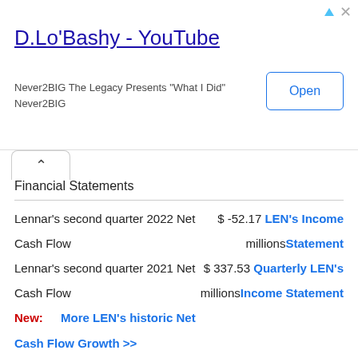[Figure (screenshot): Advertisement banner for D.Lo'Bashy YouTube channel with Open button]
Financial Statements
Lennar's second quarter 2022 Net   $ -52.17 LEN's Income
Cash Flow   millionsStatement
Lennar's second quarter 2021 Net   $ 337.53 Quarterly LEN's
Cash Flow   millionsIncome Statement
New:   More LEN's historic Net
Cash Flow Growth >>